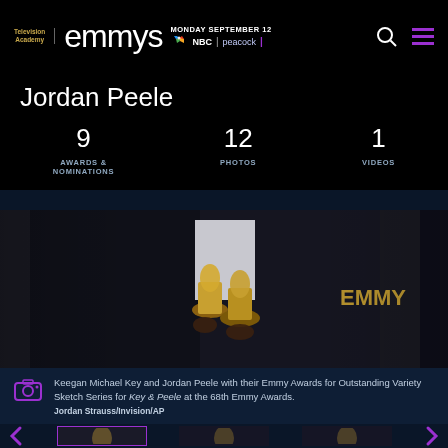Television Academy emmys | MONDAY SEPTEMBER 12 NBC | peacock
Jordan Peele
9 AWARDS & NOMINATIONS
12 PHOTOS
1 VIDEOS
[Figure (photo): Keegan Michael Key and Jordan Peele holding Emmy Awards trophies, wearing suits, with EMMY backdrop visible]
Keegan Michael Key and Jordan Peele with their Emmy Awards for Outstanding Variety Sketch Series for Key & Peele at the 68th Emmy Awards. Jordan Strauss/Invision/AP
[Figure (photo): Three thumbnail photos of Emmy-related content with Emmy statuette watermarks; first thumbnail highlighted with purple border]